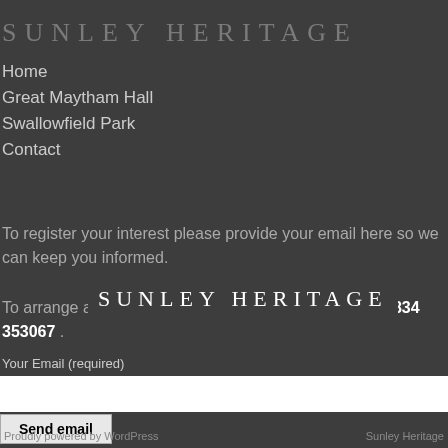SUNLEY HERITAGE
Home
Great Maytham Hall
Swallowfield Park
Contact
To register your interest please provide your email here so we can keep you informed.
[Figure (logo): SUNLEY HERITAGE logo text overlay in white on dark background]
To arrange a viewing please call us directly on +44 (0)7834 353067 .
Your Email (required)
Send email
Proudly powered by WordPress  ·  Sunley Heritage